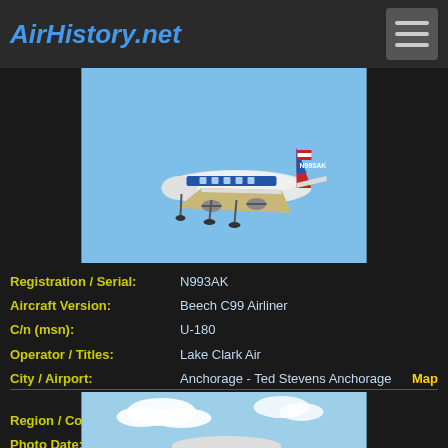AirHistory.net
[Figure (photo): Beech C99 Airliner N993AK in flight on approach, blue sky background, Lake Clark Air livery]
| Field | Value |
| --- | --- |
| Registration / Serial: | N993AK |
| Aircraft Version: | Beech C99 Airliner |
| C/n (msn): | U-180 |
| Operator / Titles: | Lake Clark Air |
| City / Airport: | Anchorage - Ted Stevens Anchorage International (PANC / ANC) |
| Region / Country: | Alaska, United States |
| Photo Date: | 20 May 2022 |
| Photo by: | Bob Garrard |
[Figure (photo): Second aircraft photo, partially visible at bottom of page, blue sky with clouds]